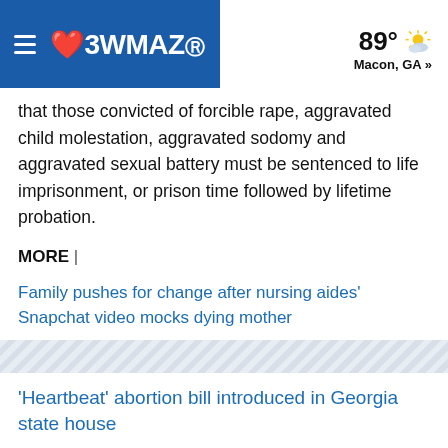13WMAZ | 89° Macon, GA »
that those convicted of forcible rape, aggravated child molestation, aggravated sodomy and aggravated sexual battery must be sentenced to life imprisonment, or prison time followed by lifetime probation.
MORE |
Family pushes for change after nursing aides' Snapchat video mocks dying mother
Hate crime legislation gets bipartisan support in Georgia
[Figure (other): Advertisement banner with diagonal stripe pattern]
'Heartbeat' abortion bill introduced in Georgia state house